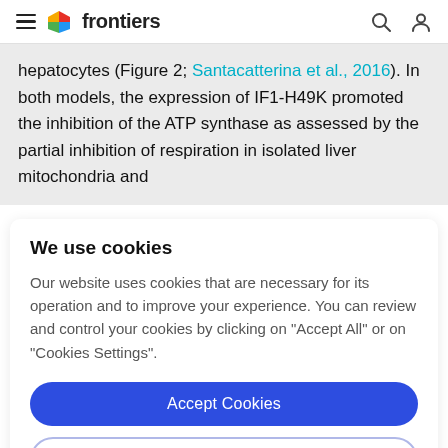frontiers
hepatocytes (Figure 2; Santacatterina et al., 2016). In both models, the expression of IF1-H49K promoted the inhibition of the ATP synthase as assessed by the partial inhibition of respiration in isolated liver mitochondria and
We use cookies
Our website uses cookies that are necessary for its operation and to improve your experience. You can review and control your cookies by clicking on "Accept All" or on "Cookies Settings".
Accept Cookies
Cookies Settings